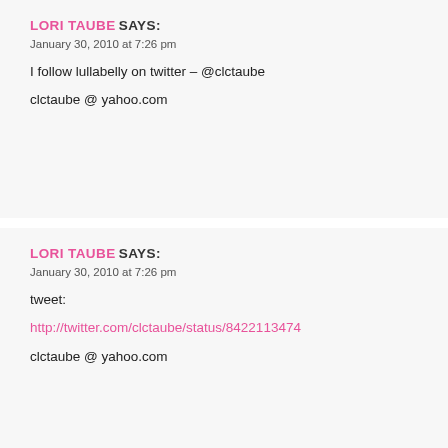LORI TAUBE SAYS:
January 30, 2010 at 7:26 pm
I follow lullabelly on twitter – @clctaube
clctaube @ yahoo.com
REPLY
LORI TAUBE SAYS:
January 30, 2010 at 7:26 pm
tweet:
http://twitter.com/clctaube/status/8422113474
clctaube @ yahoo.com